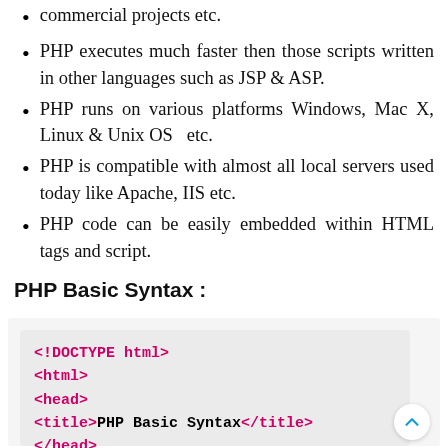commercial projects etc.
PHP executes much faster then those scripts written in other languages such as JSP & ASP.
PHP runs on various platforms Windows, Mac X, Linux & Unix OS  etc.
PHP is compatible with almost all local servers used today like Apache, IIS etc.
PHP code can be easily embedded within HTML tags and script.
PHP Basic Syntax :
[Figure (screenshot): Code block showing PHP/HTML basic syntax: <!DOCTYPE html>, <html>, <head>, <title>PHP Basic Syntax</title>, </head>, <body>]